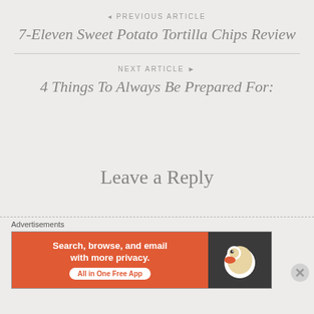◄ PREVIOUS ARTICLE
7-Eleven Sweet Potato Tortilla Chips Review
NEXT ARTICLE ►
4 Things To Always Be Prepared For:
Leave a Reply
Advertisements
[Figure (infographic): DuckDuckGo advertisement banner: Search, browse, and email with more privacy. All in One Free App. Shows DuckDuckGo duck logo on dark background.]